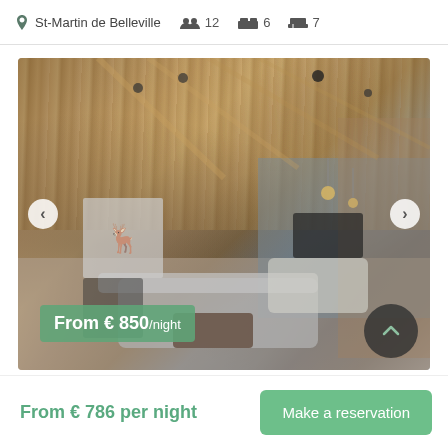St-Martin de Belleville  12  6  7
[Figure (photo): Interior of a luxury alpine chalet with wooden ceiling, living area with sofas, deer artwork on the wall, stone feature wall, and pendant lights in the background]
From € 850/night
From € 786 per night
Make a reservation